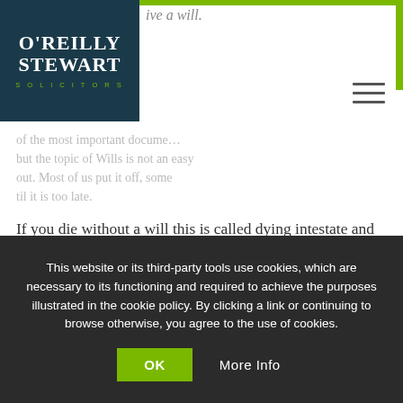[Figure (logo): O'Reilly Stewart Solicitors logo — white text on dark teal background with green tagline]
ive a will.
of the most important docume... but the topic of Wills is not an easy... out. Most of us put it off, some... til it is too late.
If you die without a will this is called dying intestate and your assets will be distributed under the Rules of Intestacy. If you are not married or in a civil partnership your partner will not inherit any assets held in your sole name, instead these assets will pass directly to your children.  This can cause financial difficulty for your family.  If you are married or in a civil partnership the first £250,000 of your estate will pass to your spouse
This website or its third-party tools use cookies, which are necessary to its functioning and required to achieve the purposes illustrated in the cookie policy. By clicking a link or continuing to browse otherwise, you agree to the use of cookies.